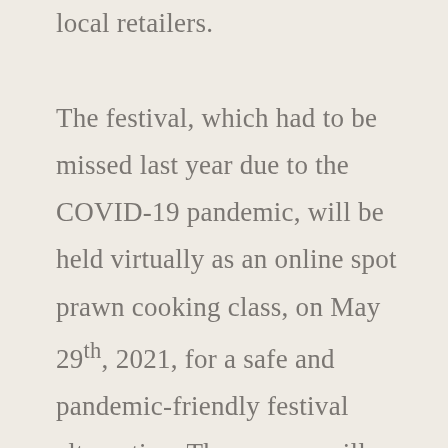local retailers. The festival, which had to be missed last year due to the COVID-19 pandemic, will be held virtually as an online spot prawn cooking class, on May 29th, 2021, for a safe and pandemic-friendly festival alternative. The prawns will also be available at many local retailers, meaning that the public will be able to support local fishing or fishmonger businesses with their